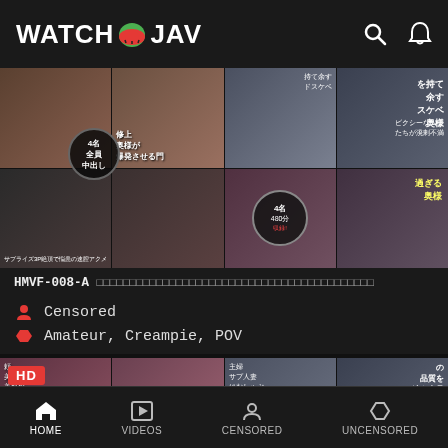WATCH JAV
[Figure (screenshot): Video thumbnail mosaic for HMVF-008-A showing multiple scenes]
HMVF-008-A [Japanese title text]
Censored
Amateur, Creampie, POV
[Figure (screenshot): HD video thumbnail mosaic showing second video]
HOME  VIDEOS  CENSORED  UNCENSORED